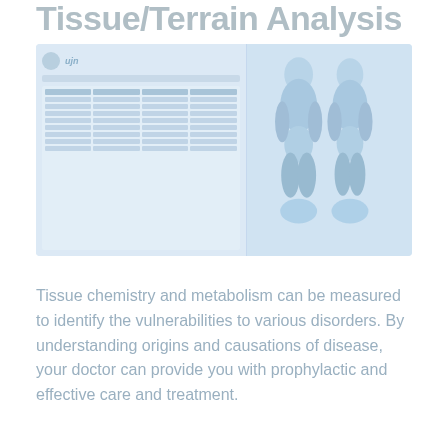Tissue/Terrain Analysis
[Figure (screenshot): Screenshot of a medical/health web application interface showing a data table on the left and stylized body/torso figures in blue on the right, used for tissue or terrain analysis.]
Tissue chemistry and metabolism can be measured to identify the vulnerabilities to various disorders. By understanding origins and causations of disease, your doctor can provide you with prophylactic and effective care and treatment.